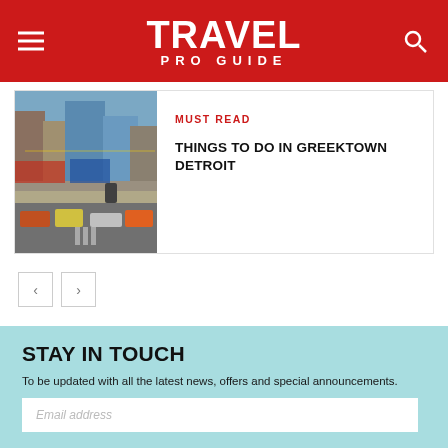TRAVEL PRO GUIDE
[Figure (photo): Street scene in Greektown Detroit with shops, signs, and cars]
MUST READ
THINGS TO DO IN GREEKTOWN DETROIT
< >
STAY IN TOUCH
To be updated with all the latest news, offers and special announcements.
Email address